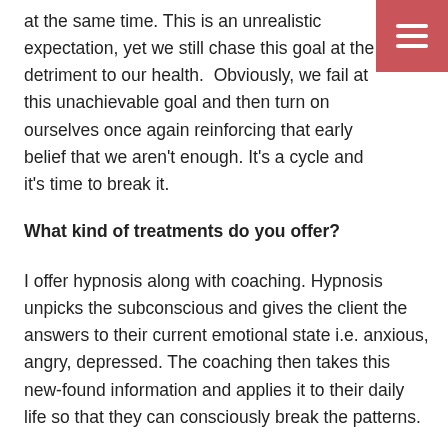at the same time. This is an unrealistic expectation, yet we still chase this goal at the detriment to our health.  Obviously, we fail at this unachievable goal and then turn on ourselves once again reinforcing that early belief that we aren't enough. It's a cycle and it's time to break it.
What kind of treatments do you offer?
I offer hypnosis along with coaching. Hypnosis unpicks the subconscious and gives the client the answers to their current emotional state i.e. anxious, angry, depressed. The coaching then takes this new-found information and applies it to their daily life so that they can consciously break the patterns.